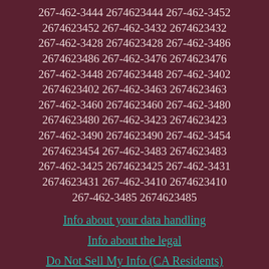267-462-3444 2674623444 267-462-3452 2674623452 267-462-3432 2674623432 267-462-3428 2674623428 267-462-3486 2674623486 267-462-3476 2674623476 267-462-3448 2674623448 267-462-3402 2674623402 267-462-3463 2674623463 267-462-3460 2674623460 267-462-3480 2674623480 267-462-3423 2674623423 267-462-3490 2674623490 267-462-3454 2674623454 267-462-3483 2674623483 267-462-3425 2674623425 267-462-3431 2674623431 267-462-3410 2674623410 267-462-3485 2674623485
Info about your data handling
Info about the legal
Do Not Sell My Info (CA Residents)
Contact form